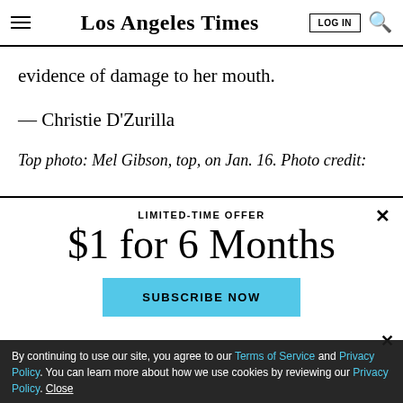Los Angeles Times
evidence of damage to her mouth.
— Christie D'Zurilla
Top photo: Mel Gibson, top, on Jan. 16. Photo credit:
LIMITED-TIME OFFER
$1 for 6 Months
SUBSCRIBE NOW
By continuing to use our site, you agree to our Terms of Service and Privacy Policy. You can learn more about how we use cookies by reviewing our Privacy Policy. Close